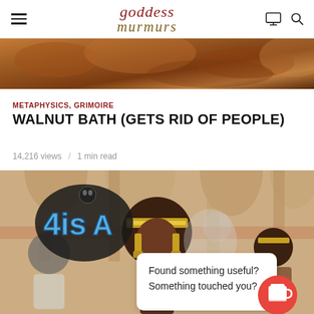goddess murmurs
[Figure (photo): Close-up photo showing fur or animal texture in warm brown/orange tones]
METAPHYSICS, GRIMOIRE
WALNUT BATH (GETS RID OF PEOPLE)
14,216 views / 1 min read
[Figure (illustration): Stylized Egyptian/African themed illustration showing a central female figure wearing gold headdress and jewelry in Egyptian style, flanked by smaller figures, with an 'Isis' logo/graphic on the left side. A speech bubble overlay shows 'Found something useful? Something touched you?' with a red coffee cup button.]